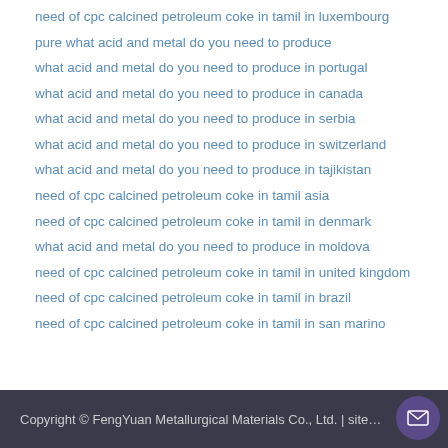need of cpc calcined petroleum coke in tamil in luxembourg
pure what acid and metal do you need to produce
what acid and metal do you need to produce in portugal
what acid and metal do you need to produce in canada
what acid and metal do you need to produce in serbia
what acid and metal do you need to produce in switzerland
what acid and metal do you need to produce in tajikistan
need of cpc calcined petroleum coke in tamil asia
need of cpc calcined petroleum coke in tamil in denmark
what acid and metal do you need to produce in moldova
need of cpc calcined petroleum coke in tamil in united kingdom
need of cpc calcined petroleum coke in tamil in brazil
need of cpc calcined petroleum coke in tamil in san marino
Copyright © FengYuan Metallurgical Materials Co., Ltd. | site…